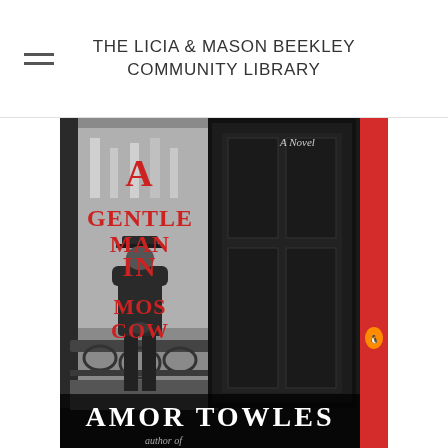THE LICIA & MASON BEEKLEY COMMUNITY LIBRARY
[Figure (photo): Book cover of 'A Gentleman in Moscow' by Amor Towles. Black and white photo of a man in a hat and suit standing at a balcony railing with his hands clasped behind his back, with ornate ironwork visible. Title text in large red serif letters: 'A GENTLEMAN IN MOSCOW'. Subtitle in smaller text: 'A Novel'. Author name at bottom in large white letters: 'AMOR TOWLES'. Red spine visible on right side with Penguin Books logo.]